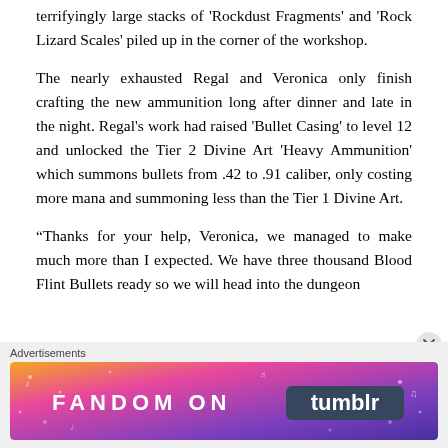terrifyingly large stacks of 'Rockdust Fragments' and 'Rock Lizard Scales' piled up in the corner of the workshop.
The nearly exhausted Regal and Veronica only finish crafting the new ammunition long after dinner and late in the night. Regal's work had raised 'Bullet Casing' to level 12 and unlocked the Tier 2 Divine Art 'Heavy Ammunition' which summons bullets from .42 to .91 caliber, only costing more mana and summoning less than the Tier 1 Divine Art.
“Thanks for your help, Veronica, we managed to make much more than I expected. We have three thousand Blood Flint Bullets ready so we will head into the dungeon
Advertisements
[Figure (other): Fandom on Tumblr advertisement banner with colorful purple-orange gradient background and white text reading 'FANDOM ON tumblr']